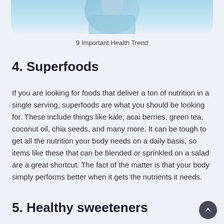[Figure (photo): Partial photo of a person in light blue clothing, cropped at the bottom, with a blue background gradient fading into the page background]
9 Important Health Trend
4. Superfoods
If you are looking for foods that deliver a ton of nutrition in a single serving, superfoods are what you should be looking for. These include things like kale, acai berries, green tea, coconut oil, chia seeds, and many more. It can be tough to get all the nutrition your body needs on a daily basis, so items like these that can be blended or sprinkled on a salad are a great shortcut. The fact of the matter is that your body simply performs better when it gets the nutrients it needs.
5. Healthy sweeteners